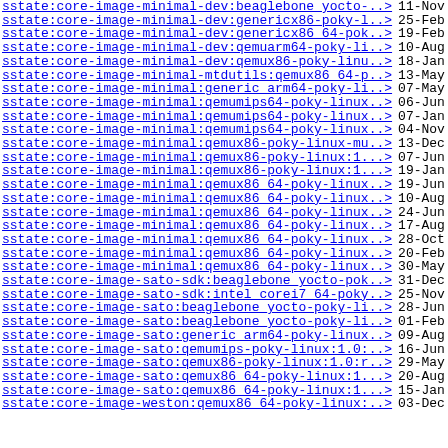| Name | Date |
| --- | --- |
| sstate:core-image-minimal-dev:beaglebone_yocto-..> | 11-Nov |
| sstate:core-image-minimal-dev:genericx86-poky-l..> | 25-Feb |
| sstate:core-image-minimal-dev:genericx86_64-pok..> | 19-Feb |
| sstate:core-image-minimal-dev:qemuarm64-poky-li..> | 10-Aug |
| sstate:core-image-minimal-dev:qemux86-poky-linu..> | 18-Jan |
| sstate:core-image-minimal-mtdutils:qemux86_64-p..> | 13-May |
| sstate:core-image-minimal:generic_arm64-poky-li..> | 07-May |
| sstate:core-image-minimal:qemumips64-poky-linux..> | 06-Jun |
| sstate:core-image-minimal:qemumips64-poky-linux..> | 07-Jan |
| sstate:core-image-minimal:qemumips64-poky-linux..> | 04-Nov |
| sstate:core-image-minimal:qemux86-poky-linux-mu..> | 13-Dec |
| sstate:core-image-minimal:qemux86-poky-linux:1...> | 07-Jun |
| sstate:core-image-minimal:qemux86-poky-linux:1...> | 19-Jan |
| sstate:core-image-minimal:qemux86_64-poky-linux..> | 19-Jun |
| sstate:core-image-minimal:qemux86_64-poky-linux..> | 10-Aug |
| sstate:core-image-minimal:qemux86_64-poky-linux..> | 24-Jun |
| sstate:core-image-minimal:qemux86_64-poky-linux..> | 17-Aug |
| sstate:core-image-minimal:qemux86_64-poky-linux..> | 28-Oct |
| sstate:core-image-minimal:qemux86_64-poky-linux..> | 20-Feb |
| sstate:core-image-minimal:qemux86_64-poky-linux..> | 30-May |
| sstate:core-image-sato-sdk:beaglebone_yocto-pok..> | 31-Dec |
| sstate:core-image-sato-sdk:intel_corei7_64-poky..> | 25-Nov |
| sstate:core-image-sato:beaglebone_yocto-poky-li..> | 28-Jun |
| sstate:core-image-sato:beaglebone_yocto-poky-li..> | 01-Feb |
| sstate:core-image-sato:generic_arm64-poky-linux..> | 09-Aug |
| sstate:core-image-sato:qemumips-poky-linux:1.0:..> | 16-Jun |
| sstate:core-image-sato:qemux86-poky-linux:1.0:r..> | 29-May |
| sstate:core-image-sato:qemux86_64-poky-linux:1...> | 20-Aug |
| sstate:core-image-sato:qemux86_64-poky-linux:1...> | 15-Jan |
| sstate:core-image-weston:qemux86_64-poky-linux:..> | 03-Dec |